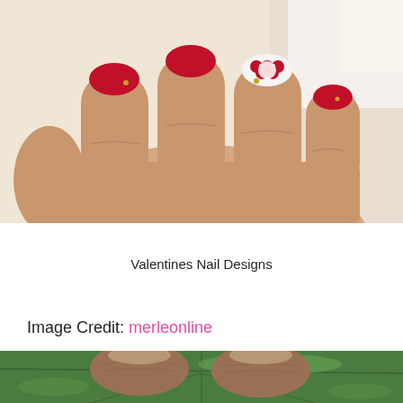[Figure (photo): Close-up photo of a hand with red nail polish and decorative white floral nail art with rhinestones on one finger, against a light background.]
Valentines Nail Designs
Image Credit: merleonline
[Figure (photo): Close-up photo of fingertips without nail polish resting on a large green leaf.]